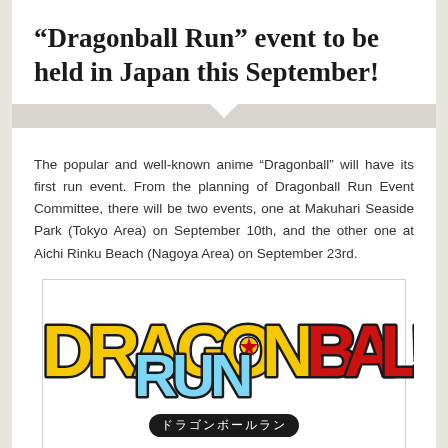“Dragonball Run” event to be held in Japan this September!
The popular and well-known anime “Dragonball” will have its first run event. From the planning of Dragonball Run Event Committee, there will be two events, one at Makuhari Seaside Park (Tokyo Area) on September 10th, and the other one at Aichi Rinku Beach (Nagoya Area) on September 23rd.
[Figure (logo): DragonBall Run logo with colorful stylized text in yellow, red, and blue, with Japanese text below reading ドラゴンボールラン]